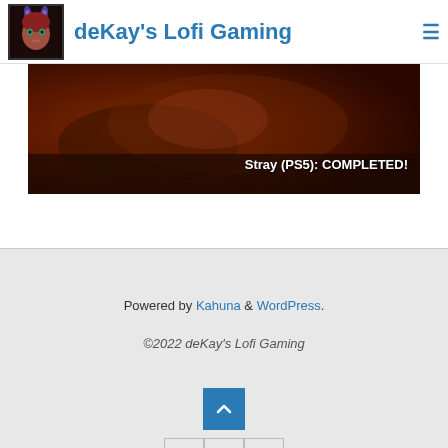deKay's Lofi Gaming
[Figure (photo): Dark reddish-brown banner image showing a gaming scene with text overlay 'Stray (PS5): COMPLETED!']
Powered by Kahuna & WordPress. ©2022 deKay's Lofi Gaming